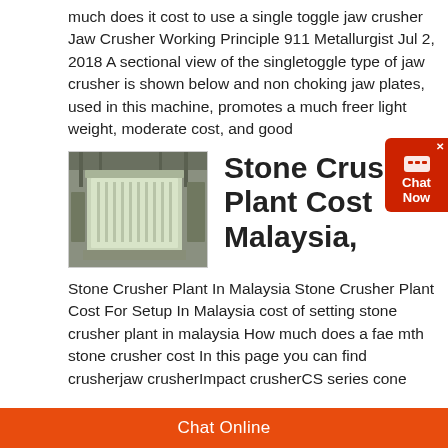much does it cost to use a single toggle jaw crusher Jaw Crusher Working Principle 911 Metallurgist Jul 2, 2018 A sectional view of the singletoggle type of jaw crusher is shown below and non choking jaw plates, used in this machine, promotes a much freer light weight, moderate cost, and good
[Figure (photo): Photo of a large industrial stone crusher machine, light green/grey color, enclosed box-like structure, in a factory setting]
Stone Crusher Plant Cost Malaysia,
Stone Crusher Plant In Malaysia Stone Crusher Plant Cost For Setup In Malaysia cost of setting stone crusher plant in malaysia How much does a fae mth stone crusher cost In this page you can find crusherjaw crusherImpact crusherCS series cone
Chat Online